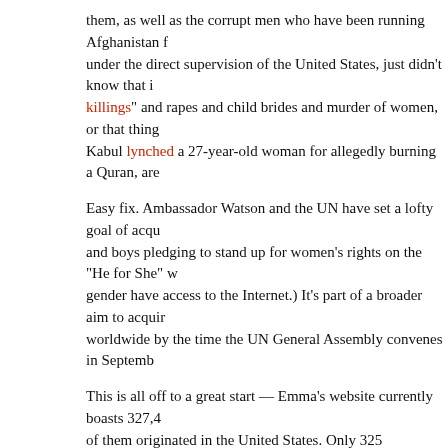them, as well as the corrupt men who have been running Afghanistan for under the direct supervision of the United States, just didn't know that killings and rapes and child brides and murder of women, or that thing Kabul lynched a 27-year-old woman for allegedly burning a Quran, are
Easy fix. Ambassador Watson and the UN have set a lofty goal of acqui and boys pledging to stand up for women's rights on the "He for She" w gender have access to the Internet.) It's part of a broader aim to acquir worldwide by the time the UN General Assembly convenes in Septemb
This is all off to a great start — Emma's website currently boasts 327,4 of them originated in the United States. Only 325 signatures came from rounded up and paid taxi fare to visit one of Kabul's fine Internet cafes.
But the program is not just sitting on its hands. It will fix all gender prob endorsements from "Afghan celebrities," and screening a documentary depicting the plight of Afghan women.
And if all that fails, Ambassador Watson, who starred in the Harry Potte Granger, will just wave her wand and shout "Reparo!" Come to think of helping than the rest of this silliness.
Five points to Gryffindor!